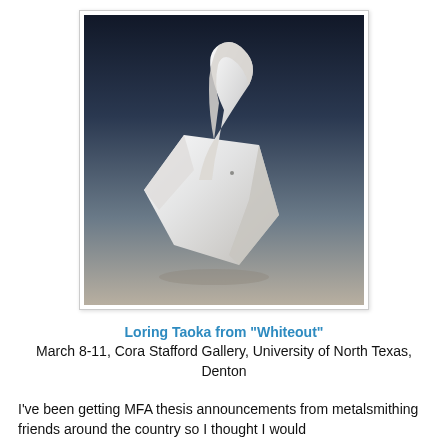[Figure (photo): White abstract sculptural object, folded/twisted ribbon-like form, photographed against a dark gradient background. The sculpture appears to be made of white metal or ceramic.]
Loring Taoka from "Whiteout"
March 8-11, Cora Stafford Gallery, University of North Texas, Denton
I've been getting MFA thesis announcements from metalsmithing friends around the country so I thought I would